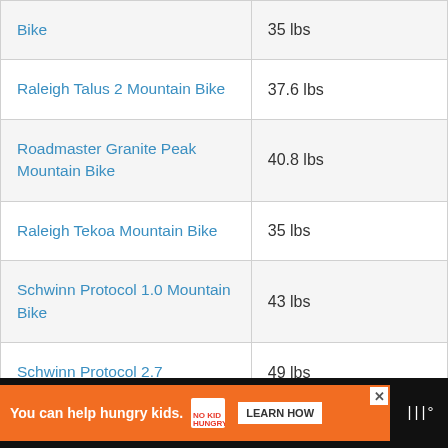| Bike | Weight |
| --- | --- |
| [Bike] | 35 lbs |
| Raleigh Talus 2 Mountain Bike | 37.6 lbs |
| Roadmaster Granite Peak Mountain Bike | 40.8 lbs |
| Raleigh Tekoa Mountain Bike | 35 lbs |
| Schwinn Protocol 1.0 Mountain Bike | 43 lbs |
| Schwinn Protocol 2.7 | 49 lbs |
You can help hungry kids. NO KID HUNGRY LEARN HOW